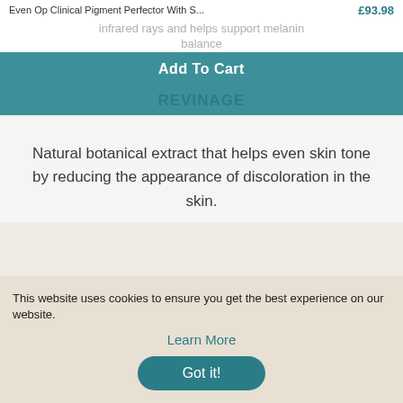Even Op Clinical Pigment Perfector With S...  £93.98
infrared rays and helps support melanin balance
Add To Cart
REVINAGE
Natural botanical extract that helps even skin tone by reducing the appearance of discoloration in the skin.
VIDEO   HOW TO USE   INGREDIENTS   FAQ
This website uses cookies to ensure you get the best experience on our website.
Learn More
Got it!